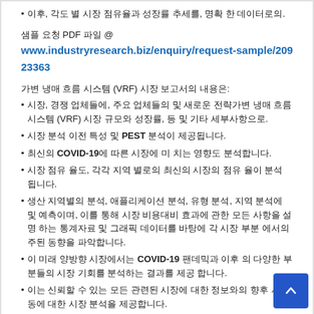• 이후, 각도 별 시장 점유율과 성장률 추세를, 명확 한 데이터로의.
샘플 요청 PDF 파일 @ www.industryresearch.biz/enquiry/request-sample/20923363
가변 냉매 흐름 시스템 (VRF) 시장 보고서의 내용은:
• 시장, 경쟁 업체들에, 주요 업체들의 및 새로운 전략가변 냉매 흐름 시스템 (VRF) 시장 규모와 성장률, 등 및 기타 세부사항으로.
• 시장 분석 이전 특성 및 PEST 분석이 제공됩니다.
• 최신의 COVID-19에 따른 시장에 미 치는 영향도 분석합니다.
• 시장 점유 율도, 각각 지역 별로의 최신의 시장의 점유 율이 분석 됩니다.
• 생산 지역별의 분석, 애플리케이션 분석, 유형 분석, 지역 분석에 및 예측이며, 이를 통해 시장 비용대비 효과에 관한 모든 사항을 설명 하는 통계자료 및 그래픽 데이터를 바탕에 각 시장 부분 에서의 주된 동향을 파악합니다.
• 이 미래 양방향 시장에서는 COVID-19 팬데믹과 이후 의 다양한 부분들의 시장 기회를 분석하는 결과를 제공 합니다.
• 이는 신뢰할 수 있는 모든 관련된 시장에 대한 정보와의 향후 시장 동에 대한 시장 분석을 제공합니다.